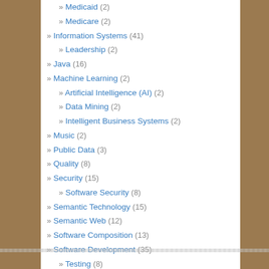» Medicaid (2)
» Medicare (2)
» Information Systems (41)
» Leadership (2)
» Java (16)
» Machine Learning (2)
» Artificial Intelligence (AI) (2)
» Data Mining (2)
» Intelligent Business Systems (2)
» Music (2)
» Public Data (3)
» Quality (8)
» Security (15)
» Software Security (8)
» Semantic Technology (15)
» Semantic Web (12)
» Software Composition (13)
» Software Development (35)
» Testing (8)
» Tools and Applications (35)